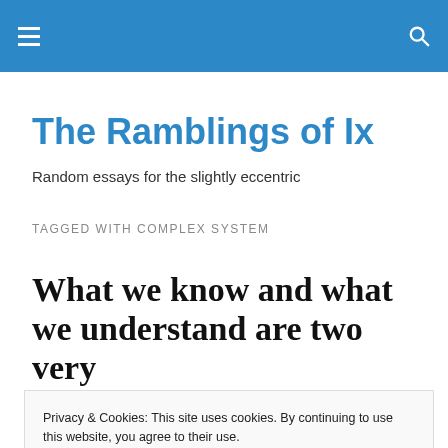The Ramblings of Ix
The Ramblings of Ix
Random essays for the slightly eccentric
TAGGED WITH COMPLEX SYSTEM
What we know and what we understand are two very
Privacy & Cookies: This site uses cookies. By continuing to use this website, you agree to their use.
To find out more, including how to control cookies, see here: Cookie Policy
Close and accept